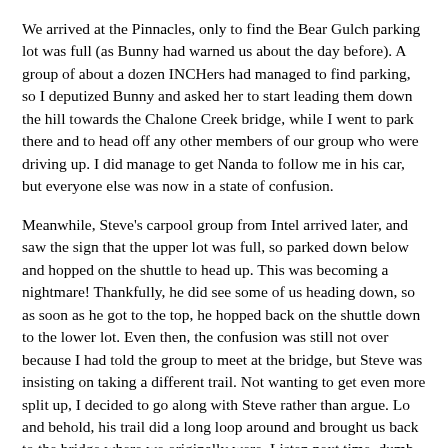We arrived at the Pinnacles, only to find the Bear Gulch parking lot was full (as Bunny had warned us about the day before). A group of about a dozen INCHers had managed to find parking, so I deputized Bunny and asked her to start leading them down the hill towards the Chalone Creek bridge, while I went to park there and to head off any other members of our group who were driving up. I did manage to get Nanda to follow me in his car, but everyone else was now in a state of confusion.
Meanwhile, Steve's carpool group from Intel arrived later, and saw the sign that the upper lot was full, so parked down below and hopped on the shuttle to head up. This was becoming a nightmare! Thankfully, he did see some of us heading down, so as soon as he got to the top, he hopped back on the shuttle down to the lower lot. Even then, the confusion was still not over because I had told the group to meet at the bridge, but Steve was insisting on taking a different trail. Not wanting to get even more split up, I decided to go along with Steve rather than argue. Lo and behold, his trail did a long loop around and brought us back to the bridge where we originally were. Listen next time, dumb-ass!
We finally got everyone assembled at the bridge. A count of the heads showed that we had 22 people going on the hike, 2 short of the all-time record. Not bad! We posed for a group photo, and I handed out the maps and explained to the group that there was